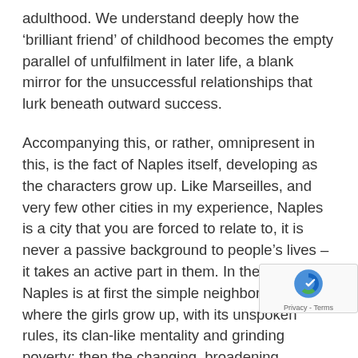adulthood. We understand deeply how the 'brilliant friend' of childhood becomes the empty parallel of unfulfilment in later life, a blank mirror for the unsuccessful relationships that lurk beneath outward success.
Accompanying this, or rather, omnipresent in this, is the fact of Naples itself, developing as the characters grow up. Like Marseilles, and very few other cities in my experience, Naples is a city that you are forced to relate to, it is never a passive background to people's lives – it takes an active part in them. In the novels, Naples is at first the simple neighborhood where the girls grow up, with its unspoken rules, its clan-like mentality and grinding poverty; then the changing, broadening perspective as the city opens up with increasing prosperity and hot water; finally it is menacing, a mockery of ambition.